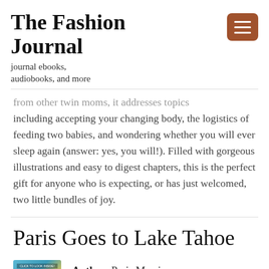The Fashion Journal
journal ebooks, audiobooks, and more
from other twin moms, it addresses topics including accepting your changing body, the logistics of feeding two babies, and wondering whether you will ever sleep again (answer: yes, you will!). Filled with gorgeous illustrations and easy to digest chapters, this is the perfect gift for anyone who is expecting, or has just welcomed, two little bundles of joy.
Paris Goes to Lake Tahoe
[Figure (illustration): Book cover thumbnail with teal and yellow colors, with 'CLICK TO LOOK INSIDE' banner]
Author: Paris Morris